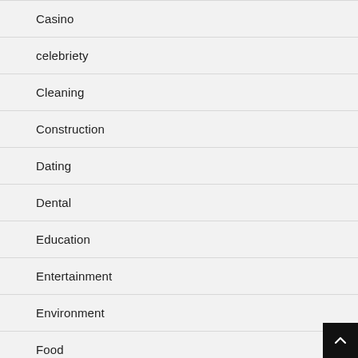Casino
celebriety
Cleaning
Construction
Dating
Dental
Education
Entertainment
Environment
Food